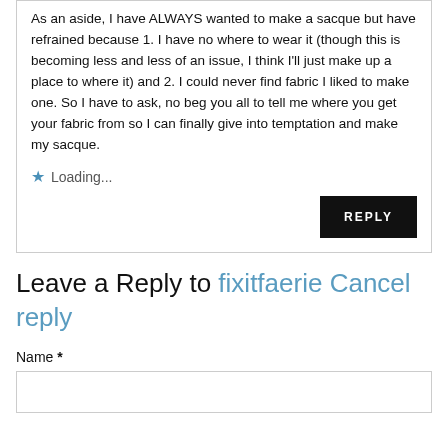As an aside, I have ALWAYS wanted to make a sacque but have refrained because 1. I have no where to wear it (though this is becoming less and less of an issue, I think I'll just make up a place to where it) and 2. I could never find fabric I liked to make one. So I have to ask, no beg you all to tell me where you get your fabric from so I can finally give into temptation and make my sacque.
Loading...
REPLY
Leave a Reply to fixitfaerie Cancel reply
Name *